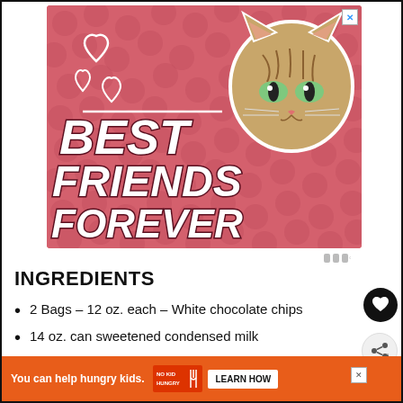[Figure (illustration): Pet food advertisement banner with pink background, heart decorations, a tabby cat photo, and bold white italic text reading 'BEST FRIENDS FOREVER']
INGREDIENTS
2 Bags - 12 oz. each - White chocolate chips
14 oz. can sweetened condensed milk
[Figure (illustration): Orange banner advertisement: 'You can help hungry kids.' with No Kid Hungry logo and 'LEARN HOW' button]